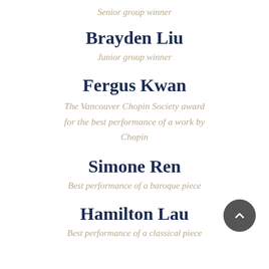Senior group winner
Brayden Liu
Junior group winner
Fergus Kwan
The Vancouver Chopin Society award for the best performance of a work by Chopin
Simone Ren
Best performance of a baroque piece
Hamilton Lau
Best performance of a classical piece